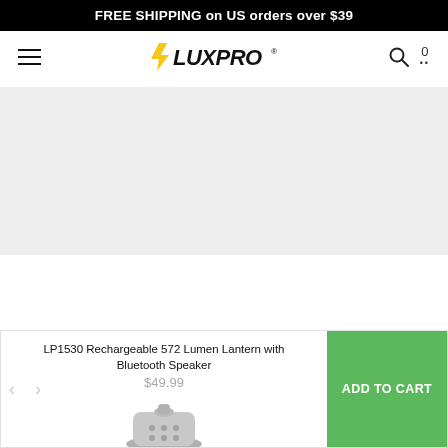FREE SHIPPING on US orders over $39
[Figure (logo): LUXPRO brand logo with yellow lightning bolt icon and stylized italic black text]
[Figure (photo): Large light gray hero image area (product banner, content not visible)]
LP1530 Rechargeable 572 Lumen Lantern with Bluetooth Speaker
$49.99
[Figure (photo): Partial photo of a gray lantern top with knob and speaker grille]
ADD TO CART